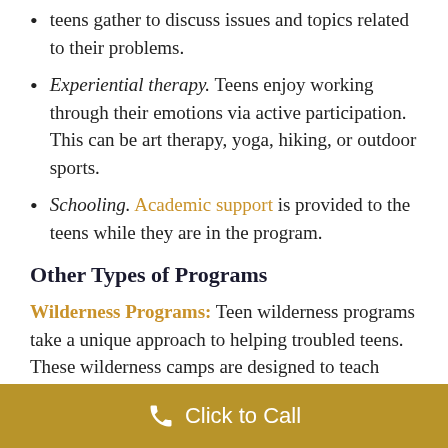teens gather to discuss issues and topics related to their problems.
Experiential therapy. Teens enjoy working through their emotions via active participation. This can be art therapy, yoga, hiking, or outdoor sports.
Schooling. Academic support is provided to the teens while they are in the program.
Other Types of Programs
Wilderness Programs: Teen wilderness programs take a unique approach to helping troubled teens. These wilderness camps are designed to teach teens how to take care of them...
Click to Call